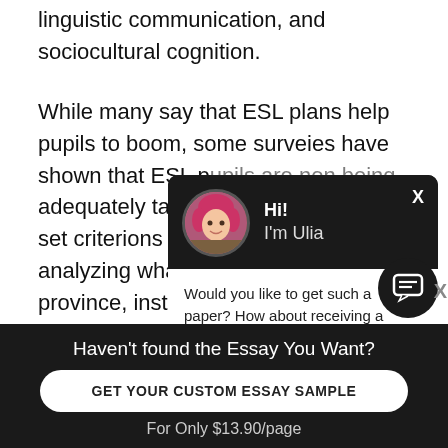linguistic communication, and sociocultural cognition.
While many say that ESL plans help pupils to boom, some surveies have shown that ESL pupils are non being adequately taught to meet pre-set criterions ( G... analyzing what i... province, instru... plans, a better a... benefits and dra... these ESL plans ... be determined, a...
[Figure (screenshot): Chat popup overlay with avatar of a woman with pink/red hair, greeting 'Hi! I'm Ulia', with message 'Would you like to get such a paper? How about receiving a customized one? Check it out']
Haven't found the Essay You Want?
GET YOUR CUSTOM ESSAY SAMPLE
For Only $13.90/page